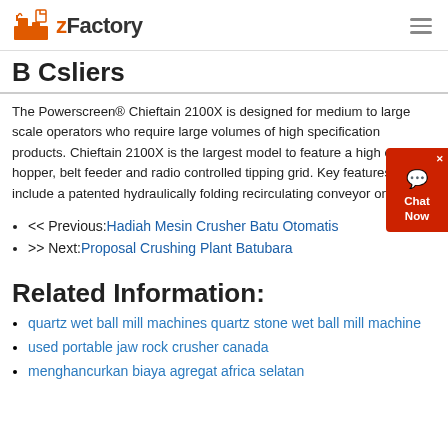zFactory
B C sliers
The Powerscreen® Chieftain 2100X is designed for medium to large scale operators who require large volumes of high specification products. Chieftain 2100X is the largest model to feature a high capacity hopper, belt feeder and radio controlled tipping grid. Key features include a patented hydraulically folding recirculating conveyor on the ...
<< Previous:Hadiah Mesin Crusher Batu Otomatis
>> Next:Proposal Crushing Plant Batubara
Related Information:
quartz wet ball mill machines quartz stone wet ball mill machine
used portable jaw rock crusher canada
menghancurkan biaya agregat africa selatan